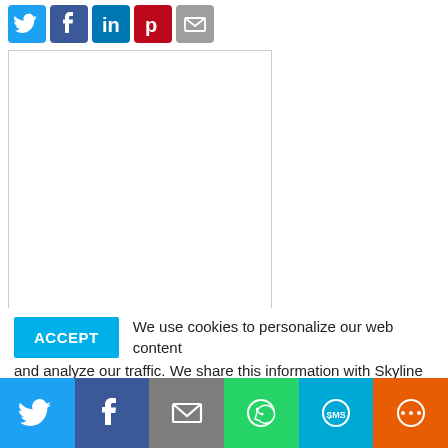[Figure (infographic): Social share buttons row: Twitter (blue bird), Facebook (blue f), LinkedIn (blue in), Pinterest (red p), Email (gray envelope)]
[Figure (screenshot): White content area / advertisement placeholder with border]
ACCEPT   We use cookies to personalize our web content and analyze our traffic. We share this information with Skyline dealers who may combine it with information you provided them
[Figure (infographic): Bottom social share bar with icons: Twitter (light blue), Facebook (dark blue), Email (gray), WhatsApp (green), SMS (blue), More/share (orange)]